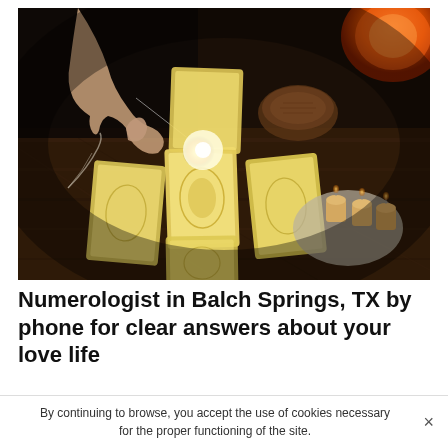[Figure (photo): A person holding a crystal pendulum over a tarot card spread on a dark wooden table. The cards are yellow and white with ornate patterns, arranged in a cross formation. There is a glowing light at the center, candles in a glass holder on the right, a wooden bowl with decorative items, and an orange orb/lamp visible in the upper right corner.]
Numerologist in Balch Springs, TX by phone for clear answers about your love life
By continuing to browse, you accept the use of cookies necessary for the proper functioning of the site.